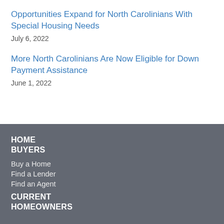Opportunities Expand for North Carolinians With Special Housing Needs
July 6, 2022
More North Carolinians Are Now Eligible for Down Payment Assistance
June 1, 2022
HOME BUYERS
Buy a Home
Find a Lender
Find an Agent
CURRENT HOMEOWNERS